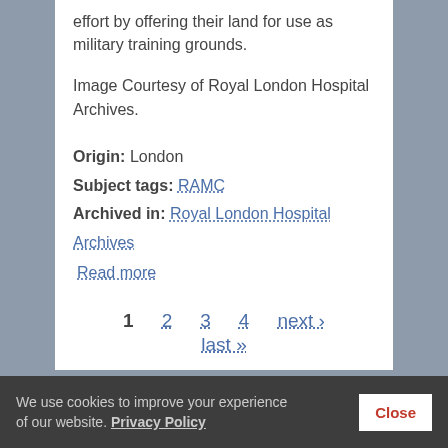effort by offering their land for use as military training grounds.
Image Courtesy of Royal London Hospital Archives.
Origin: London
Subject tags: RAMC
Archived in: Royal London Hospital Archives
Read more
1  2  3  4  next ›  last »
[Figure (other): RSS feed icon — orange rounded square with white RSS symbol]
We use cookies to improve your experience of our website. Privacy Policy   Close